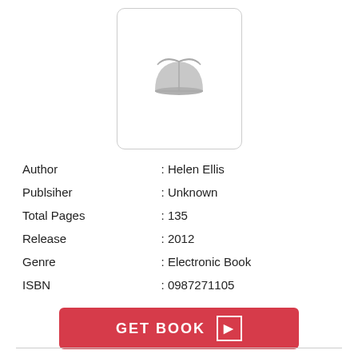[Figure (illustration): Book cover placeholder with a gray open book icon inside a rounded rectangle border]
| Author | : Helen Ellis |
| Publsiher | : Unknown |
| Total Pages | : 135 |
| Release | : 2012 |
| Genre | : Electronic Book |
| ISBN | : 0987271105 |
GET BOOK ▶